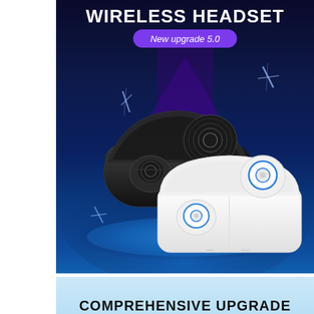[Figure (photo): Product advertisement image for wireless Bluetooth earbuds/headset. Dark navy/blue gradient background with purple geometric shapes. Shows one black TWS earbud charging case (open, with one earbud inside showing fingerprint design) and one white TWS earbud charging case (open, with two white earbuds showing blue circle design). Both cases are displayed on a glowing blue circular platform. Text overlay: 'WIRELESS HEADSET' in large white bold letters at top, and 'New upgrade 5.0' in a purple rounded badge below.]
WIRELESS HEADSET
New upgrade 5.0
COMPREHENSIVE UPGRADE